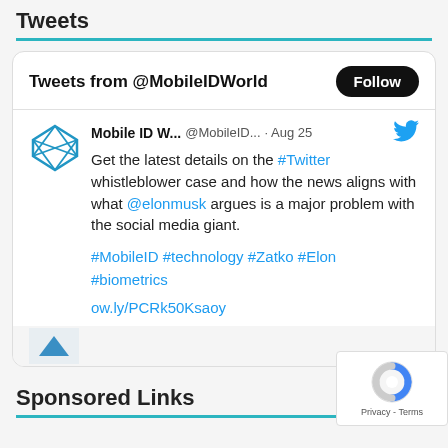Tweets
[Figure (screenshot): Embedded Twitter widget showing tweets from @MobileIDWorld with a Follow button, displaying a tweet from Mobile ID W... @MobileID... Aug 25 about Twitter whistleblower case mentioning @elonmusk, with hashtags #MobileID #technology #Zatko #Elon #biometrics and link ow.ly/PCRk50Ksaoy]
Sponsored Links
[Figure (logo): reCAPTCHA badge with circular logo and Privacy - Terms text]